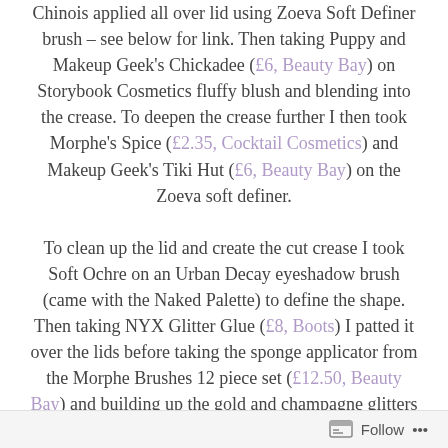Chinois applied all over lid using Zoeva Soft Definer brush – see below for link. Then taking Puppy and Makeup Geek's Chickadee (£6, Beauty Bay) on Storybook Cosmetics fluffy blush and blending into the crease. To deepen the crease further I then took Morphe's Spice (£2.35, Cocktail Cosmetics) and Makeup Geek's Tiki Hut (£6, Beauty Bay) on the Zoeva soft definer. To clean up the lid and create the cut crease I took Soft Ochre on an Urban Decay eyeshadow brush (came with the Naked Palette) to define the shape. Then taking NYX Glitter Glue (£8, Boots) I patted it over the lids before taking the sponge applicator from the Morphe Brushes 12 piece set (£12.50, Beauty Bay) and building up the gold and champagne glitters (There is no Such Thing as Too Much Glitter –
Follow